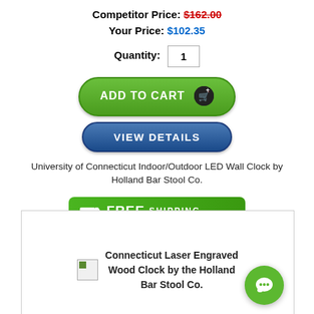Competitor Price: $162.00 (strikethrough)  Your Price: $102.35
Quantity: 1
[Figure (screenshot): Green 'ADD TO CART' button with cart icon]
[Figure (screenshot): Blue 'VIEW DETAILS' button]
University of Connecticut Indoor/Outdoor LED Wall Clock by Holland Bar Stool Co.
[Figure (infographic): Green FREE SHIPPING banner with truck icon]
[Figure (photo): Connecticut Laser Engraved Wood Clock by the Holland Bar Stool Co. - product image placeholder]